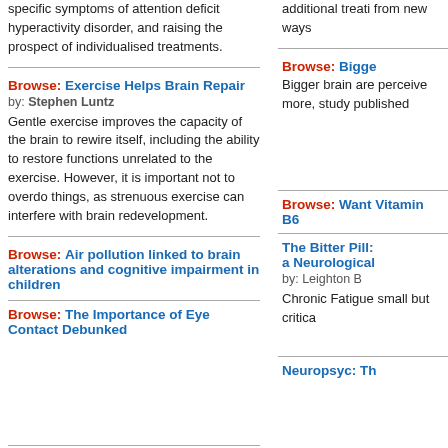specific symptoms of attention deficit hyperactivity disorder, and raising the prospect of individualised treatments.
additional treatments from new ways
Browse: Exercise Helps Brain Repair
by: Stephen Luntz
Gentle exercise improves the capacity of the brain to rewire itself, including the ability to restore functions unrelated to the exercise. However, it is important not to overdo things, as strenuous exercise can interfere with brain redevelopment.
Browse: Bigger brain are perceive more, study published
Browse: Air pollution linked to brain alterations and cognitive impairment in children
Browse: Want Vitamin B6
Browse: The Importance of Eye Contact Debunked
The Bitter Pill: a Neurological
by: Leighton B
Chronic Fatigue small but critica
Expert Opinion: Smoking Done Just Once as a Teen
Neuropsyc: Th